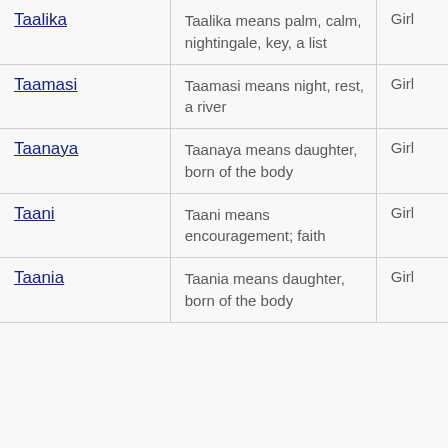| Name | Meaning | Gender |
| --- | --- | --- |
| Taalika | Taalika means palm, calm, nightingale, key, a list | Girl |
| Taamasi | Taamasi means night, rest, a river | Girl |
| Taanaya | Taanaya means daughter, born of the body | Girl |
| Taani | Taani means encouragement; faith | Girl |
| Taania | Taania means daughter, born of the body | Girl |